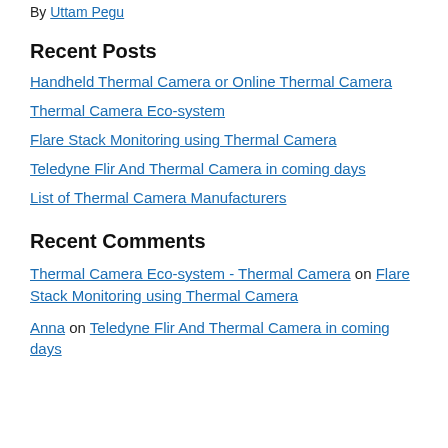By Uttam Pegu
Recent Posts
Handheld Thermal Camera or Online Thermal Camera
Thermal Camera Eco-system
Flare Stack Monitoring using Thermal Camera
Teledyne Flir And Thermal Camera in coming days
List of Thermal Camera Manufacturers
Recent Comments
Thermal Camera Eco-system - Thermal Camera on Flare Stack Monitoring using Thermal Camera
Anna on Teledyne Flir And Thermal Camera in coming days